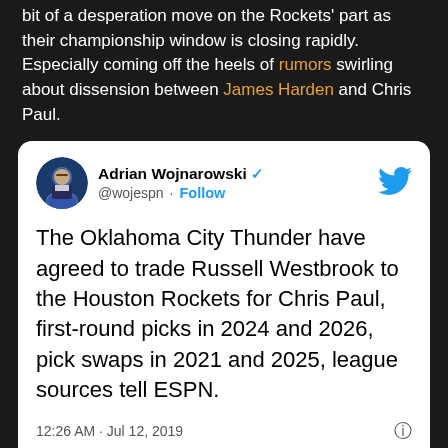bit of a desperation move on the Rockets' part as their championship window is closing rapidly. Especially coming off the heels of rumors swirling about dissension between James Harden and Chris Paul.
[Figure (screenshot): Embedded tweet from @wojespn (Adrian Wojnarowski) stating: 'The Oklahoma City Thunder have agreed to trade Russell Westbrook to the Houston Rockets for Chris Paul, first-round picks in 2024 and 2026, pick swaps in 2021 and 2025, league sources tell ESPN.' Posted at 12:26 AM · Jul 12, 2019. 103K likes, Reply, Copy link actions visible.]